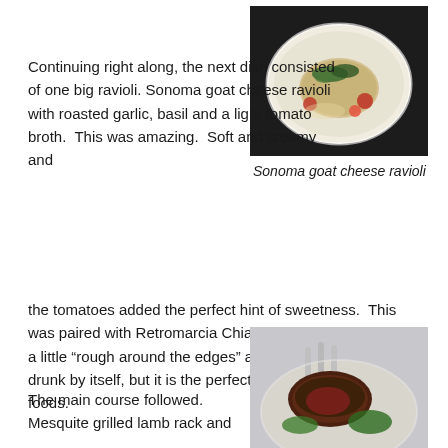[Figure (photo): Photo of Sonoma goat cheese ravioli in a white bowl with tomatoes and greens in a light broth]
Continuing right along, the next dish consisted of one big ravioli. Sonoma goat cheese ravioli with roasted garlic, basil and a light tomato broth.  This was amazing.  Soft and creamy and the tomatoes added the perfect hint of sweetness.  This was paired with Retromarcia Chianti Classico.  This wine is a little “rough around the edges” as George put it, to be drunk by itself, but it is the perfect accompaniment to rich foods.
Sonoma goat cheese ravioli
[Figure (photo): Photo of mesquite grilled lamb rack on a plate with vegetables]
The main course followed. Mesquite grilled lamb rack and